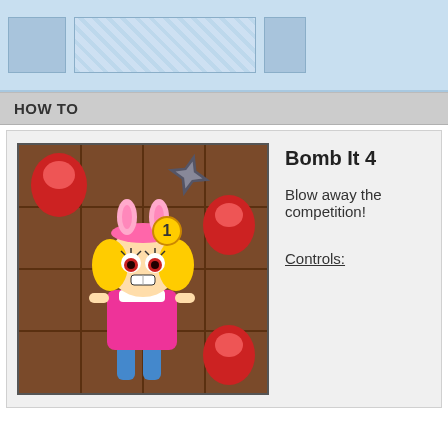[Figure (screenshot): Top banner area with light blue background containing placeholder boxes: one medium blue box on left, one wide striped light blue box in center, one small blue box on right]
HOW TO
[Figure (illustration): Game thumbnail for Bomb It 4 showing a cartoon blonde girl character in pink outfit with a number 1 badge, standing in a grid-based arena with red balloon-like objects and a ninja star in the background]
Bomb It 4
Blow away the competition!
Controls: